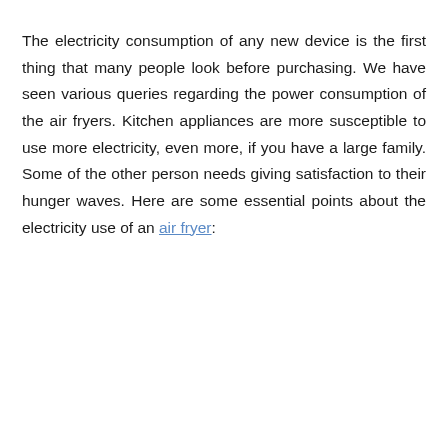The electricity consumption of any new device is the first thing that many people look before purchasing. We have seen various queries regarding the power consumption of the air fryers. Kitchen appliances are more susceptible to use more electricity, even more, if you have a large family. Some of the other person needs giving satisfaction to their hunger waves. Here are some essential points about the electricity use of an air fryer: